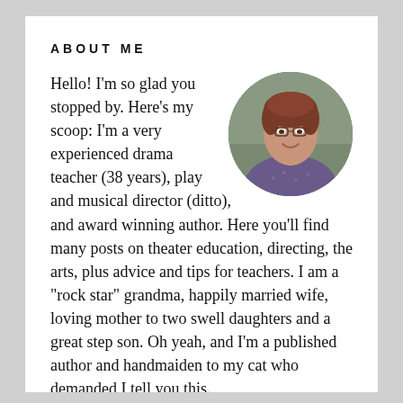ABOUT ME
[Figure (photo): Circular portrait photo of a smiling middle-aged woman with short reddish-brown hair, wearing glasses and a patterned blouse, against a neutral background.]
Hello! I'm so glad you stopped by. Here's my scoop: I'm a very experienced drama teacher (38 years), play and musical director (ditto), and award winning author. Here you'll find many posts on theater education, directing, the arts, plus advice and tips for teachers. I am a "rock star" grandma, happily married wife, loving mother to two swell daughters and a great step son. Oh yeah, and I'm a published author and handmaiden to my cat who demanded I tell you this.